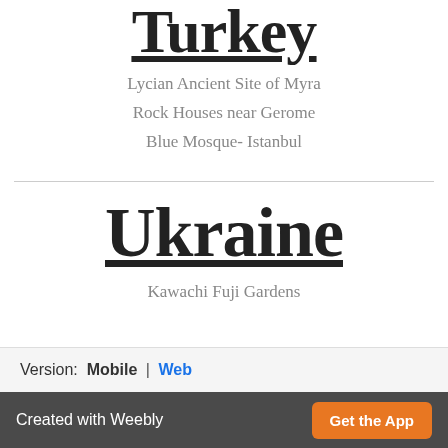Turkey
Lycian Ancient Site of Myra
Rock Houses near Gerome
Blue Mosque- Istanbul
Ukraine
Kawachi Fuji Gardens
Version: Mobile | Web
Created with Weebly  Get the App